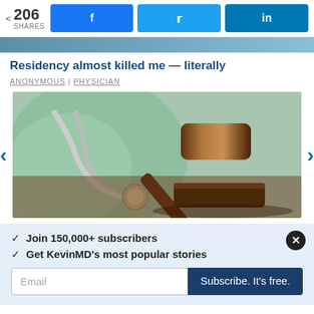206 SHARES | Share on Facebook | Share on Twitter | Share on LinkedIn
[Figure (photo): Partial hero image strip showing a person wearing medical scrubs or coat]
Residency almost killed me — literally
ANONYMOUS | PHYSICIAN
[Figure (photo): Photo of a judge's gavel and a stethoscope on a surface, representing medical-legal topics]
✓  Join 150,000+ subscribers
✓  Get KevinMD's most popular stories
Email | Subscribe. It's free.